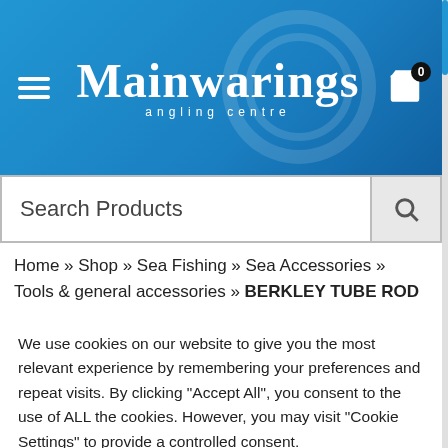Mainwarings angling centre
Search Products
Home » Shop » Sea Fishing » Sea Accessories » Tools & general accessories » BERKLEY TUBE ROD HOLDER – WHITE
[Figure (photo): Product image strip showing BERKLEY TUBE ROD HOLDER in white, partially visible]
We use cookies on our website to give you the most relevant experience by remembering your preferences and repeat visits. By clicking "Accept All", you consent to the use of ALL the cookies. However, you may visit "Cookie Settings" to provide a controlled consent.
Cookie Settings
Accept All